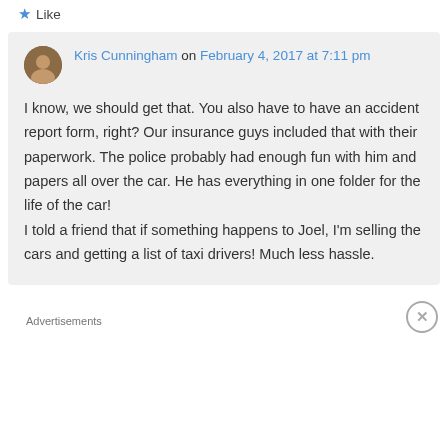Like
Kris Cunningham on February 4, 2017 at 7:11 pm
I know, we should get that. You also have to have an accident report form, right? Our insurance guys included that with their paperwork. The police probably had enough fun with him and papers all over the car. He has everything in one folder for the life of the car!
I told a friend that if something happens to Joel, I'm selling the cars and getting a list of taxi drivers! Much less hassle.
Advertisements